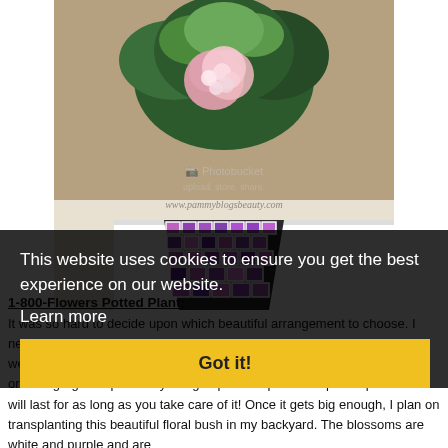[Figure (photo): A potted pink/white hydrangea plant in a colorful mosaic tile square vase, set on a white surface against a stone-textured wall background. Watermark reads www.pammyblogsbeauty.com. Photobucket watermark also visible.]
This website uses cookies to ensure you get the best experience on our website.
Learn more
Got it!
1-800-Flowers Potted Plant:
It was so hard to decide upon which beautiful arrangement to choose. I nearly kept going back-and-forth between about 6 of them from their website. Finally, I decided upon using my 1-800 Flowers $50 Gift Card to order a gorgeous potted Hydrangea plant. I opted for a potted plant as it will last for as long as you take care of it! Once it gets big enough, I plan on transplanting this beautiful floral bush in my backyard. The blossoms are white and purple and are